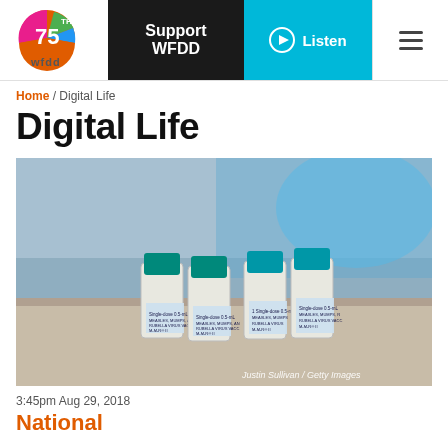WFDD 75th Anniversary | Support WFDD | Listen
Home / Digital Life
Digital Life
[Figure (photo): Four vials of single-dose Measles, Mumps, and Rubella (MMR) vaccine with blue caps arranged on a surface, with blurred laboratory background. Credit: Justin Sullivan / Getty Images]
3:45pm Aug 29, 2018
National